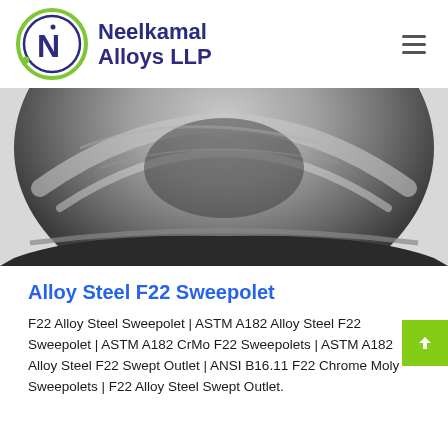[Figure (logo): Neelkamal Alloys LLP logo — circular green and navy blue ring with stylized N inside, company name in bold navy text]
[Figure (photo): Close-up photograph of an Alloy Steel F22 Sweepolet fitting — metallic curved pipe fitting showing machined surface with dark and silver tones]
Alloy Steel F22 Sweepolet
F22 Alloy Steel Sweepolet | ASTM A182 Alloy Steel F22 Sweepolet | ASTM A182 CrMo F22 Sweepolets | ASTM A182 Alloy Steel F22 Swept Outlet | ANSI B16.11 F22 Chrome Moly Sweepolets | F22 Alloy Steel Swept Outlet.